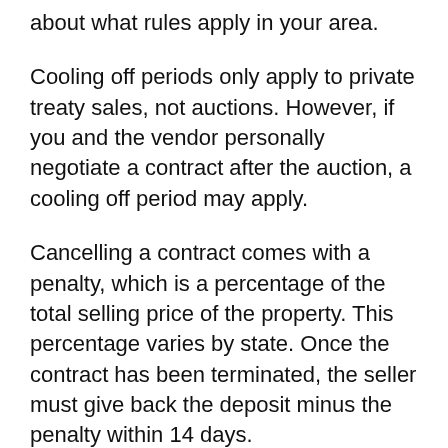about what rules apply in your area.
Cooling off periods only apply to private treaty sales, not auctions. However, if you and the vendor personally negotiate a contract after the auction, a cooling off period may apply.
Cancelling a contract comes with a penalty, which is a percentage of the total selling price of the property. This percentage varies by state. Once the contract has been terminated, the seller must give back the deposit minus the penalty within 14 days.
In NSW, ACT and Queensland, the cooling off period is five days, with a 0.25 per cent forfeit of the sale price. In Victoria, the cooling off period is only three days with a 0.2 per cent forfeit, while